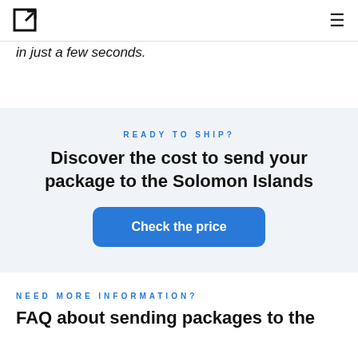[logo] [hamburger menu]
in just a few seconds.
READY TO SHIP?
Discover the cost to send your package to the Solomon Islands
Check the price
NEED MORE INFORMATION?
FAQ about sending packages to the